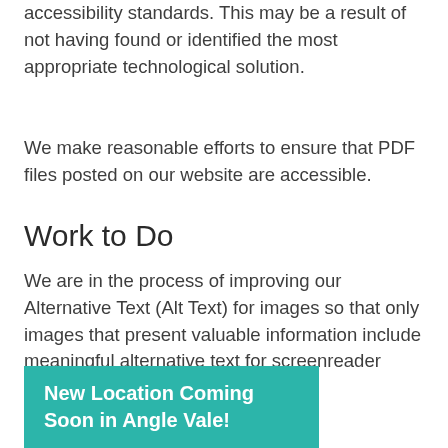accessibility standards. This may be a result of not having found or identified the most appropriate technological solution.
We make reasonable efforts to ensure that PDF files posted on our website are accessible.
Work to Do
We are in the process of improving our Alternative Text (Alt Text) for images so that only images that present valuable information include meaningful alternative text for screenreader users; any decorative images will
[Figure (infographic): Teal/turquoise banner overlay reading 'New Location Coming Soon in Angle Vale!' in bold white text]